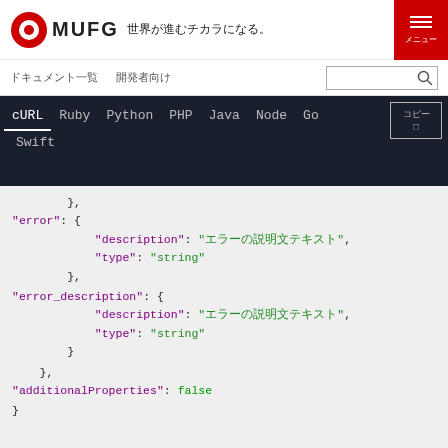[Figure (logo): MUFG logo with red circular target icon, bold MUFG text, and Japanese tagline '世界が進むチカラになる。']
メニュー
ドキュメント一覧　開発者向け
cURL Ruby Python PHP Java Node Go Swift
コピー
"error": {
    "description": "エラーの説明文テキスト",
    "type": "string"
},
"error_description": {
    "description": "エラーの説明文テキスト",
    "type": "string"
}
},
"additionalProperties": false
}